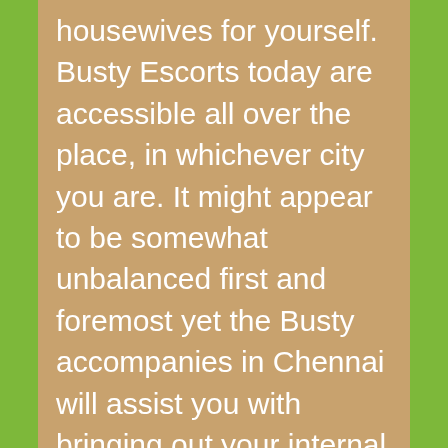housewives for yourself. Busty Escorts today are accessible all over the place, in whichever city you are. It might appear to be somewhat unbalanced first and foremost yet the Busty accompanies in Chennai will assist you with bringing out your internal forlorn self and cause you to overlook that individual and transform you into a certain and keen person. These Busty Chennai accompanies know precisely what